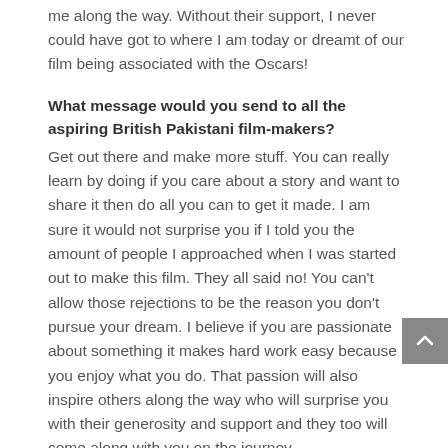me along the way. Without their support, I never could have got to where I am today or dreamt of our film being associated with the Oscars!
What message would you send to all the aspiring British Pakistani film-makers?
Get out there and make more stuff. You can really learn by doing if you care about a story and want to share it then do all you can to get it made. I am sure it would not surprise you if I told you the amount of people I approached when I was started out to make this film. They all said no! You can't allow those rejections to be the reason you don't pursue your dream. I believe if you are passionate about something it makes hard work easy because you enjoy what you do. That passion will also inspire others along the way who will surprise you with their generosity and support and they too will come along with you on the journey.